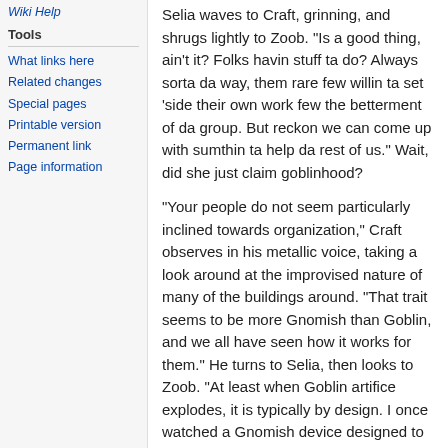Wiki Help
Tools
What links here
Related changes
Special pages
Printable version
Permanent link
Page information
Selia waves to Craft, grinning, and shrugs lightly to Zoob. "Is a good thing, ain't it? Folks havin stuff ta do? Always sorta da way, them rare few willin ta set 'side their own work few the betterment of da group. But reckon we can come up with sumthin ta help da rest of us." Wait, did she just claim goblinhood?
"Your people do not seem particularly inclined towards organization," Craft observes in his metallic voice, taking a look around at the improvised nature of many of the buildings around. "That trait seems to be more Gnomish than Goblin, and we all have seen how it works for them." He turns to Selia, then looks to Zoob. "At least when Goblin artifice explodes, it is typically by design. I once watched a Gnomish device designed to create a beverage from ground beans